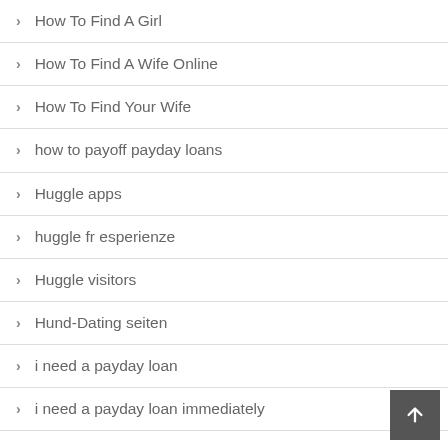How To Find A Girl
How To Find A Wife Online
How To Find Your Wife
how to payoff payday loans
Huggle apps
huggle fr esperienze
Huggle visitors
Hund-Dating seiten
i need a payday loan
i need a payday loan immediately